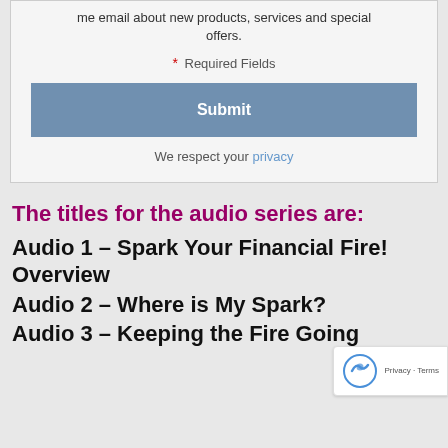me email about new products, services and special offers.
* Required Fields
Submit
We respect your privacy
The titles for the audio series are:
Audio 1 – Spark Your Financial Fire! Overview
Audio 2 – Where is My Spark?
Audio 3 – Keeping the Fire Going